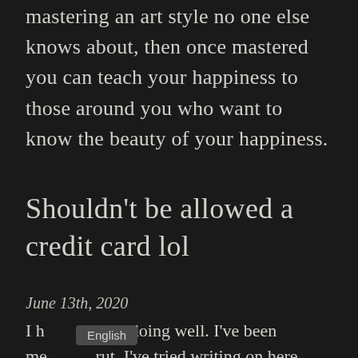mastering an art style no one else knows about, then once mastered you can teach your happiness to those around you who want to know the beauty of your happiness.
Shouldn't be allowed a credit card lol
June 13th, 2020
I h[...] ne is doing well. I've been me[...] rut. I've tried writing on here